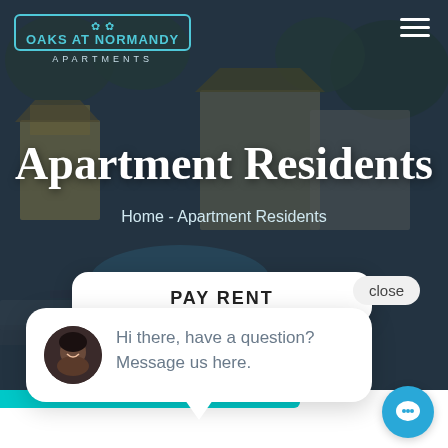[Figure (screenshot): Aerial/overhead photo of Oaks at Normandy apartment complex with buildings, pool, and trees, shown as a dark overlay background]
OAKS AT NORMANDY APARTMENTS
Apartment Residents
Home - Apartment Residents
PAY RENT
close
Hi there, have a question? Message us here.